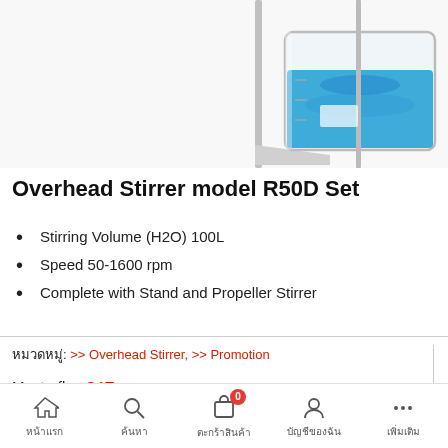[Figure (photo): A glass beaker containing bright blue liquid, with a metal stirring shaft/stand apparatus, placed on a white background. Only the upper portion of the apparatus is visible, cropped.]
Overhead Stirrer model R50D Set
Stirring Volume (H2O) 100L
Speed 50-1600 rpm
Complete with Stand and Propeller Stirrer
หมวดหมู่: >> Overhead Stirrer, >> Promotion
Masterflex CAT